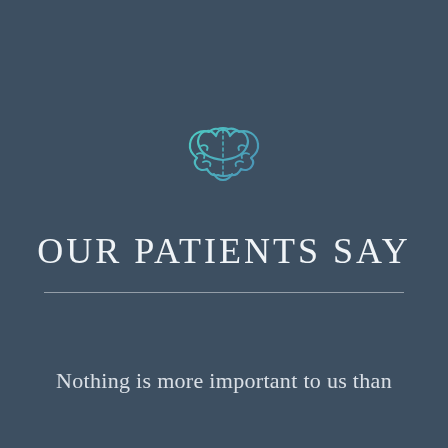[Figure (illustration): Outline icon of a brain rendered in teal/cyan gradient on dark blue-grey background]
OUR PATIENTS SAY
Nothing is more important to us than the health and well being of our patients.  It is always good to hear